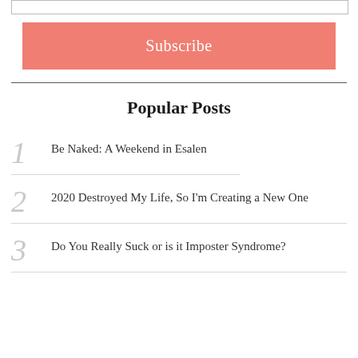[Figure (other): Input bar/text field at top of page]
Subscribe
Popular Posts
1 Be Naked: A Weekend in Esalen
2 2020 Destroyed My Life, So I'm Creating a New One
3 Do You Really Suck or is it Imposter Syndrome?